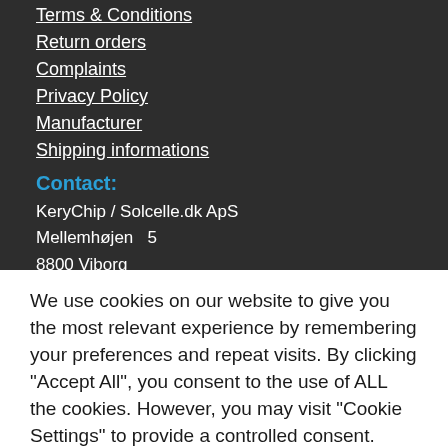Terms & Conditions
Return orders
Complaints
Privacy Policy
Manufacturer
Shipping informations
Contact:
KeryChip / Solcelle.dk ApS
Mellemhøjen  5
8800 Viborg
We use cookies on our website to give you the most relevant experience by remembering your preferences and repeat visits. By clicking “Accept All”, you consent to the use of ALL the cookies. However, you may visit "Cookie Settings" to provide a controlled consent.
Cookie Settings
Accept All